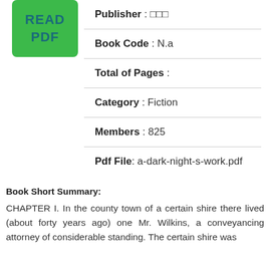[Figure (other): Green button with text READ PDF]
Publisher : □□□
Book Code : N.a
Total of Pages :
Category : Fiction
Members : 825
Pdf File: a-dark-night-s-work.pdf
Book Short Summary:
CHAPTER I. In the county town of a certain shire there lived (about forty years ago) one Mr. Wilkins, a conveyancing attorney of considerable standing. The certain shire was